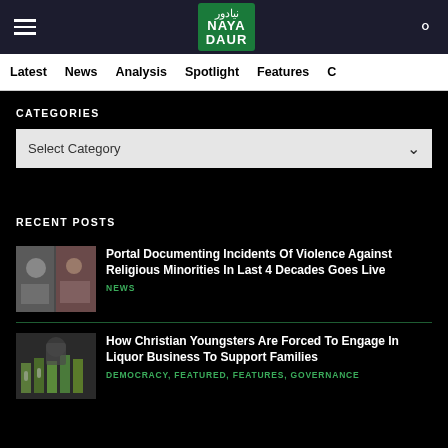Naya Daur - navigation header with hamburger menu, logo, and search icon
Latest | News | Analysis | Spotlight | Features
CATEGORIES
Select Category
RECENT POSTS
Portal Documenting Incidents Of Violence Against Religious Minorities In Last 4 Decades Goes Live
NEWS
How Christian Youngsters Are Forced To Engage In Liquor Business To Support Families
DEMOCRACY, FEATURED, FEATURES, GOVERNANCE